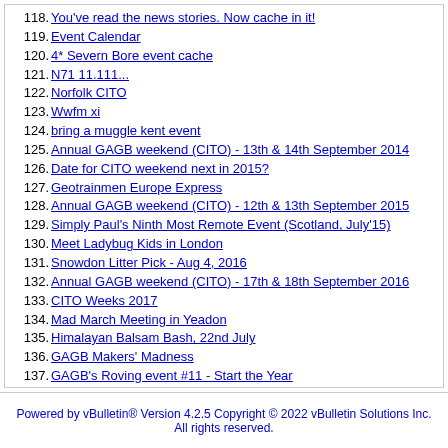118. You've read the news stories. Now cache in it!
119. Event Calendar
120. 4* Severn Bore event cache
121. N71 11.111...
122. Norfolk CITO
123. Wwfm xi
124. bring a muggle kent event
125. Annual GAGB weekend (CITO) - 13th & 14th September 2014
126. Date for CITO weekend next in 2015?
127. Geotrainmen Europe Express
128. Annual GAGB weekend (CITO) - 12th & 13th September 2015
129. Simply Paul's Ninth Most Remote Event (Scotland, July'15)
130. Meet Ladybug Kids in London
131. Snowdon Litter Pick - Aug 4, 2016
132. Annual GAGB weekend (CITO) - 17th & 18th September 2016
133. CITO Weeks 2017
134. Mad March Meeting in Yeadon
135. Himalayan Balsam Bash, 22nd July
136. GAGB Makers' Madness
137. GAGB's Roving event #11 - Start the Year
138. GAGB Roving Event 17 - South Somerset
Powered by vBulletin® Version 4.2.5 Copyright © 2022 vBulletin Solutions Inc. All rights reserved.